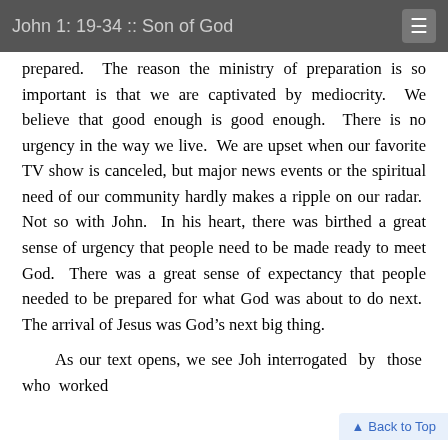John 1: 19-34 :: Son of God
prepared.  The reason the ministry of preparation is so important is that we are captivated by mediocrity.  We believe that good enough is good enough.  There is no urgency in the way we live.  We are upset when our favorite TV show is canceled, but major news events or the spiritual need of our community hardly makes a ripple on our radar.  Not so with John.  In his heart, there was birthed a great sense of urgency that people need to be made ready to meet God.  There was a great sense of expectancy that people needed to be prepared for what God was about to do next.  The arrival of Jesus was God's next big thing.
As our text opens, we see Joh... interrogated by those who worked...